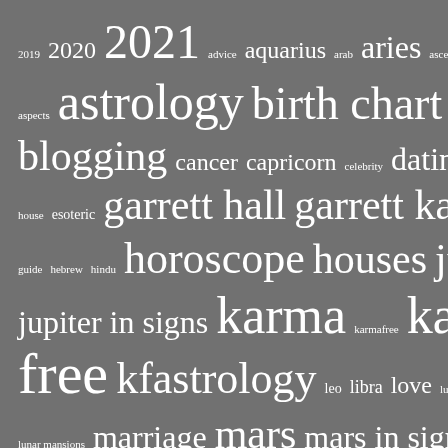[Figure (infographic): Tag cloud / word cloud with astrology-related terms in various font sizes on a grey background. Larger words indicate higher frequency/importance: 2021, astrology, birth chart, blog, blogging, karma free, horoscope, jupiter, natal chart are among the largest. Smaller words include 2019, advice, arab, ascendant, aspects, celebrity, eclipse, eighth, house, esoteric, guide, hebrew, hindu, karmafree, leo, libra, lunar astrology, lunar mansions, metaphysical, nakshatras, planets.]